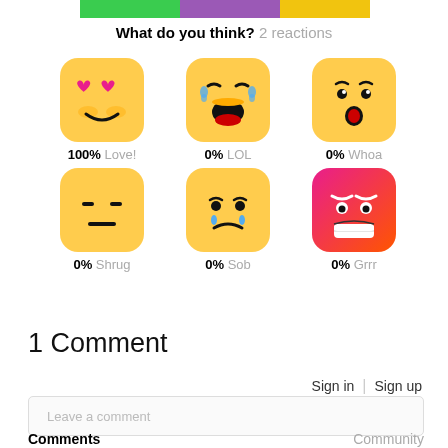[Figure (illustration): Colorful image strip at top of page]
What do you think? 2 reactions
[Figure (infographic): Grid of 6 emoji reaction icons: Love (100%), LOL (0%), Whoa (0%), Shrug (0%), Sob (0%), Grrr (0%)]
1 Comment
Sign in | Sign up
Leave a comment
Comments   Community